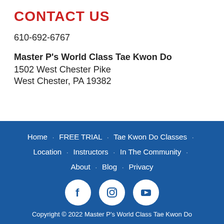CONTACT US
610-692-6767
Master P's World Class Tae Kwon Do
1502 West Chester Pike
West Chester, PA 19382
Home · FREE TRIAL · Tae Kwon Do Classes · Location · Instructors · In The Community · About · Blog · Privacy
[Figure (other): Social media icons: Facebook, Instagram, YouTube in white circles on blue background]
Copyright © 2022 Master P's World Class Tae Kwon Do